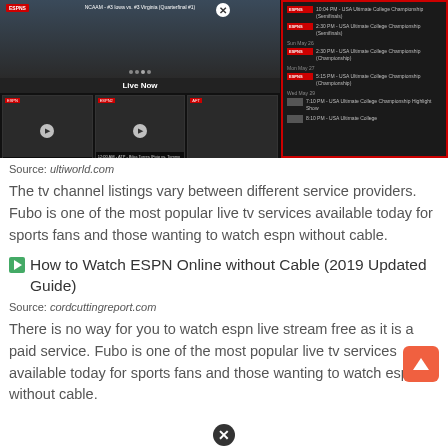[Figure (screenshot): ESPN live streaming app screenshot showing video player with NCAAM game and schedule sidebar with red border showing USA Ultimate College Championship listings]
Source: ultiworld.com
The tv channel listings vary between different service providers. Fubo is one of the most popular live tv services available today for sports fans and those wanting to watch espn without cable.
[Figure (screenshot): Small green icon/thumbnail for How to Watch ESPN Online without Cable (2019 Updated Guide)]
How to Watch ESPN Online without Cable (2019 Updated Guide)
Source: cordcuttingreport.com
There is no way for you to watch espn live stream free as it is a paid service. Fubo is one of the most popular live tv services available today for sports fans and those wanting to watch espn without cable.